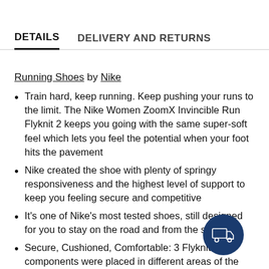DETAILS   DELIVERY AND RETURNS
Running Shoes by Nike
Train hard, keep running. Keep pushing your runs to the limit. The Nike Women ZoomX Invincible Run Flyknit 2 keeps you going with the same super-soft feel which lets you feel the potential when your foot hits the pavement
Nike created the shoe with plenty of springy responsiveness and the highest level of support to keep you feeling secure and competitive
It's one of Nike's most tested shoes, still designed for you to stay on the road and from the sidelines
Secure, Cushioned, Comfortable: 3 Flyknit components were placed in different areas of the shoe. At the tongue, seamless